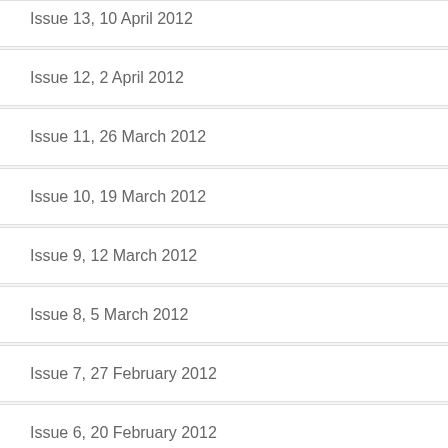Issue 13, 10 April 2012
Issue 12, 2 April 2012
Issue 11, 26 March 2012
Issue 10, 19 March 2012
Issue 9, 12 March 2012
Issue 8, 5 March 2012
Issue 7, 27 February 2012
Issue 6, 20 February 2012
Issue 5, 13 February 2012